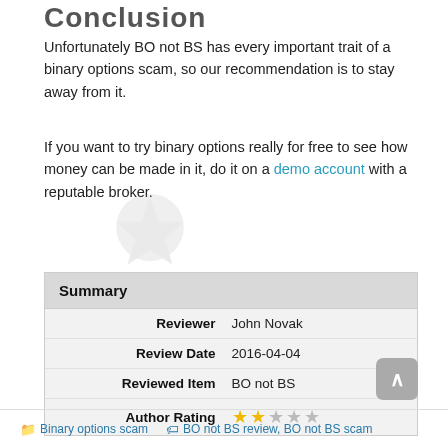Conclusion
Unfortunately BO not BS has every important trait of a binary options scam, so our recommendation is to stay away from it.
If you want to try binary options really for free to see how money can be made in it, do it on a demo account with a reputable broker.
|  |  |
| --- | --- |
| Reviewer | John Novak |
| Review Date | 2016-04-04 |
| Reviewed Item | BO not BS |
| Author Rating | 2/5 stars |
Binary options scam   BO not BS review, BO not BS scam